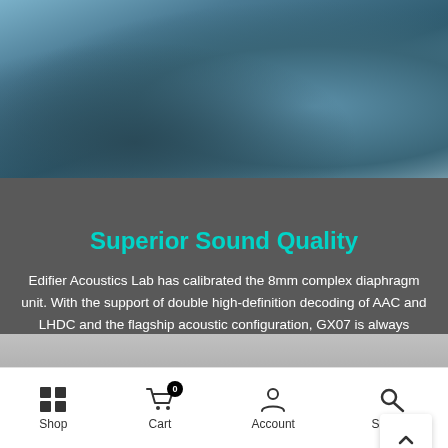[Figure (photo): Two people wearing blue hoodies, shown from neck down, with a Bluetooth neckband earphone visible]
Superior Sound Quality
Edifier Acoustics Lab has calibrated the 8mm complex diaphragm unit. With the support of double high-definition decoding of AAC and LHDC and the flagship acoustic configuration, GX07 is always ready to produce superb sound.
[Figure (photo): Exploded view of earphone components spread out on a gray surface showing internal parts and drivers]
Shop   Cart 0   Account   Search